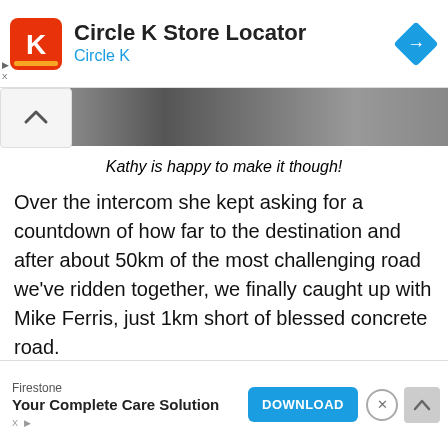[Figure (screenshot): Circle K Store Locator app advertisement banner with Circle K logo and navigation icon]
[Figure (photo): Partial photo strip showing dark background, likely outdoor riding scene]
Kathy is happy to make it though!
Over the intercom she kept asking for a countdown of how far to the destination and after about 50km of the most challenging road we've ridden together, we finally caught up with Mike Ferris, just 1km short of blessed concrete road.
The 180km trips took about eight hours and in that time we were converted to the challenging pleasures of this raw and exciting country.
Those shiny shoes are going to need another polish!
[Figure (screenshot): Firestone Your Complete Care Solution advertisement banner with Download button]